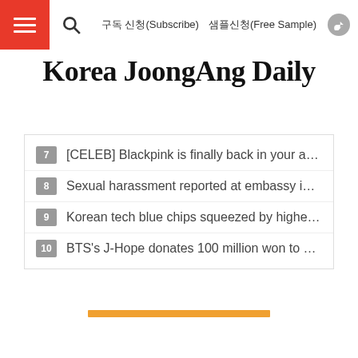구독 신청(Subscribe)  샘플신청(Free Sample)
Korea JoongAng Daily
7 [CELEB] Blackpink is finally back in your area, an…
8 Sexual harassment reported at embassy in the …
9 Korean tech blue chips squeezed by higher cost…
10 BTS's J-Hope donates 100 million won to help v…